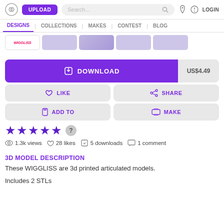UPLOAD | Search... | LOGIN
DESIGNS | COLLECTIONS | MAKES | CONTEST | BLOG
[Figure (screenshot): Thumbnail strip with 5 small images]
DOWNLOAD  US$4.49
LIKE  |  SHARE
ADD TO  |  MAKE
★★★★★ ?
1.3k views  28 likes  5 downloads  1 comment
3D MODEL DESCRIPTION
These WIGGLISS are 3d printed articulated models.
Includes 2 STLs